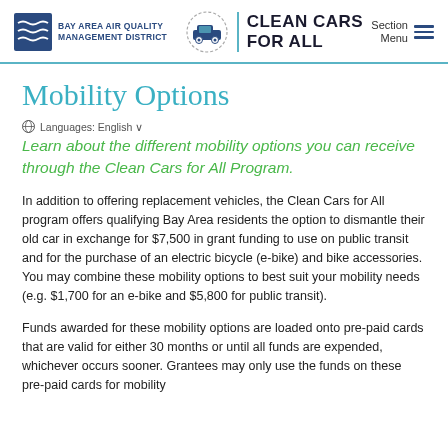Bay Area Air Quality Management District | Clean Cars For All | Section Menu
Mobility Options
Languages: English
Learn about the different mobility options you can receive through the Clean Cars for All Program.
In addition to offering replacement vehicles, the Clean Cars for All program offers qualifying Bay Area residents the option to dismantle their old car in exchange for $7,500 in grant funding to use on public transit and for the purchase of an electric bicycle (e-bike) and bike accessories. You may combine these mobility options to best suit your mobility needs (e.g. $1,700 for an e-bike and $5,800 for public transit).
Funds awarded for these mobility options are loaded onto pre-paid cards that are valid for either 30 months or until all funds are expended, whichever occurs sooner. Grantees may only use the funds on these pre-paid cards for mobility